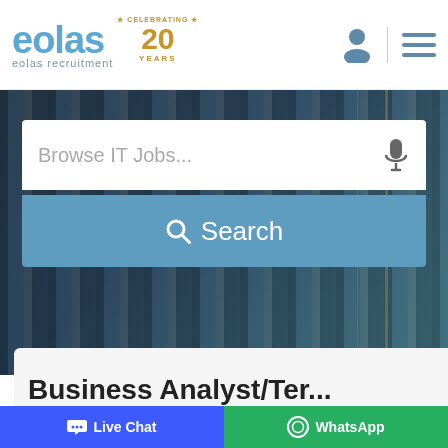[Figure (logo): Eolas Recruitment logo with '20 Years Celebrating' badge in gold/orange, company name in blue]
[Figure (screenshot): Hero banner with blurred warehouse/bar background, containing a search input 'Browse IT Jobs...' with microphone icon and a blue Search button]
Business Analyst/Ter...
[Figure (infographic): Bottom chat bar with Live Chat button (blue) and WhatsApp button (green)]